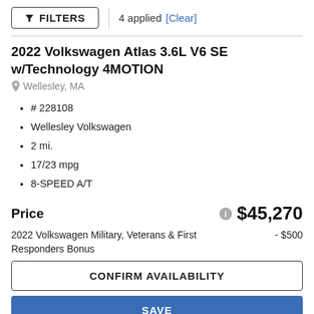FILTERS | 4 applied [Clear]
2022 Volkswagen Atlas 3.6L V6 SE w/Technology 4MOTION
Wellesley, MA
# 228108
Wellesley Volkswagen
2 mi.
17/23 mpg
8-SPEED A/T
Price  $45,270
2022 Volkswagen Military, Veterans & First Responders Bonus  - $500
CONFIRM AVAILABILITY
SAVE
CALL (855) 602-7323!